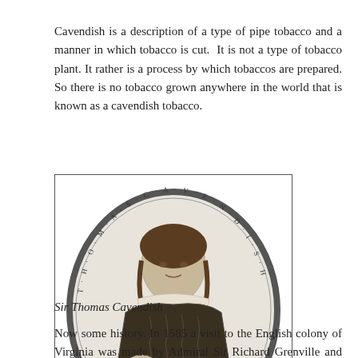Cavendish is a description of a type of pipe tobacco and a manner in which tobacco is cut. It is not a type of tobacco plant. It rather is a process by which tobaccos are prepared. So there is no tobacco grown anywhere in the world that is known as a cavendish tobacco.
[Figure (illustration): An oval engraved portrait of Sir Thomas Cavendish, showing a man in Elizabethan attire, surrounded by decorative text around the oval border. The name 'Thomas Cavendish' appears at the bottom of the oval.]
Sir Thomas Cavendish
Now some history. In 1585 a visit to the English colony of Virginia was made by Admiral Sir Richard Grenville and Sir Thomas Cavendish at the request of Queen Elizabeth. The native people of the area presented tobacco to the colonists and Sir Thomas wished to bring it back to England for promotion and selling. On the return voyage he infused his personal supply with dark rum. Thus preventing it from drying out and to sweeten the smoke. He then